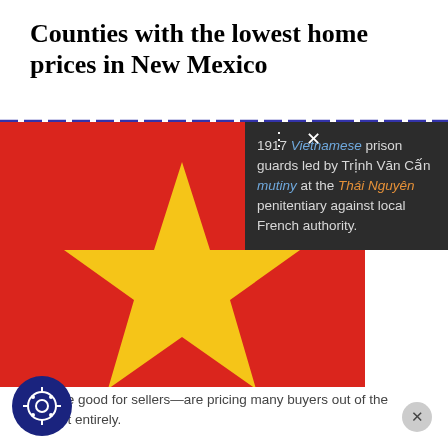Counties with the lowest home prices in New Mexico
[Figure (illustration): Vietnamese flag (red background with yellow five-pointed star), partially obscured by a dark tooltip overlay]
1917 Vietnamese prison guards led by Trịnh Văn Cấn mutiny at the Thái Nguyên penitentiary against local French authority.
—while good for sellers—are pricing many buyers out of the market entirely.
[Figure (illustration): Vietnamese flag (red background with yellow five-pointed star), partially shown at bottom of page]
[Figure (logo): Cookie consent button icon — circular dark blue button with cookie/gear icon]